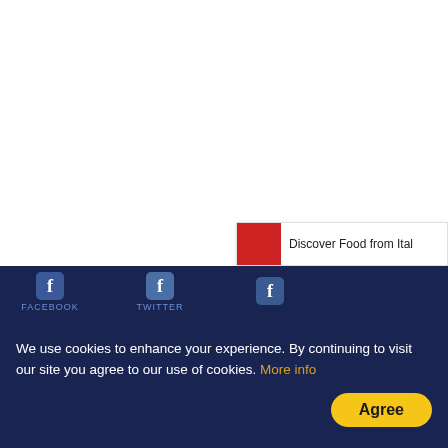[Figure (screenshot): White blank area representing a webpage background, with a partially visible card in the lower right showing a red block and the text 'Discover Food from Ital...' A social media strip with Facebook icons and labels appears above a cookie consent bar at the bottom.]
We use cookies to enhance your experience. By continuing to visit our site you agree to our use of cookies. More info
Agree